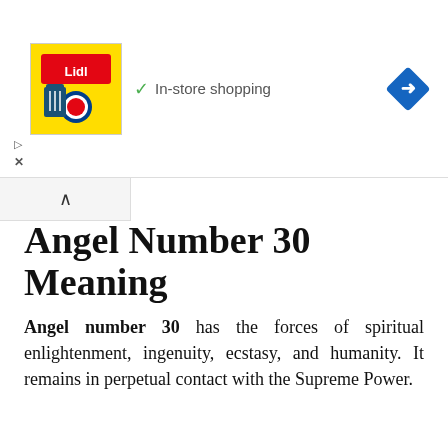[Figure (screenshot): Top advertisement banner showing Lidl store logo with 'In-store shopping' text and a blue navigation diamond icon on the right]
[Figure (screenshot): Collapse/minimize tab bar with an up arrow (^) icon]
Angel Number 30 Meaning
Angel number 30 has the forces of spiritual enlightenment, ingenuity, ecstasy, and humanity. It remains in perpetual contact with the Supreme Power.
-ADVERTISEMENT-
[Figure (screenshot): Video overlay on black background showing 'How To Open 7 Chakras - Meditation and Healing - SunSigns.Org' with a circular icon and a small amber dot]
imagination, and accomplishment are the other charac
[Figure (screenshot): Bottom advertisement banner: HC logo on yellow background with text 'View store hours, get directions, or call your salon!' and blue navigation diamond]